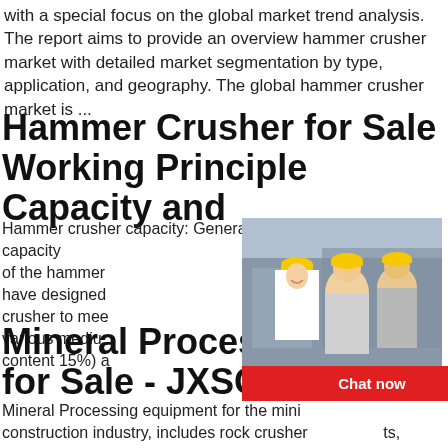with a special focus on the global market trend analysis. The report aims to provide an overview hammer crusher market with detailed market segmentation by type, application, and geography. The global hammer crusher market is ...
Hammer Crusher for Sale Working Principle Capacity and
Hammer crusher capacity: Generally, the processing capacity of the hammer ... have designed ... crusher to meet ... various medium ... (moisture content 15%) and ... totally different from that ...
Mineral Processing Equipment for Sale - JXSC Machine
Mineral Processing equipment for the mining construction industry, includes rock crushers, gravity separators, magnetic separators, flotation and even more. Contact JXSC to get the be...
[Figure (screenshot): Live chat popup overlay showing workers in hard hats, LIVE CHAT heading in red, 'Click for a Free Consultation' text, 'Chat now' and 'Chat later' buttons, hour online text, and a machinery image on the right side with 'Click me to chat>>', 'Enquiry', and 'limingjlmofen' buttons.]